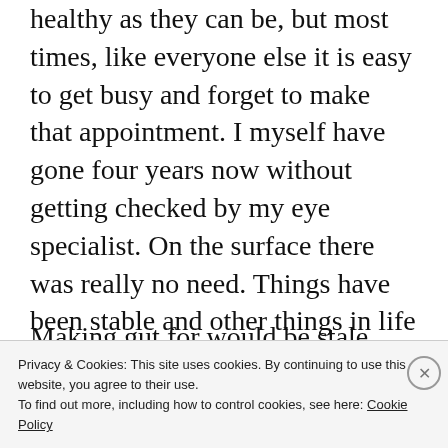healthy as they can be, but most times, like everyone else it is easy to get busy and forget to make that appointment. I myself have gone four years now without getting checked by my eye specialist. On the surface there was really no need. Things have been stable and other things in life then take precedent, but it is nice to know someone is there if there ever is a problem.
Making gut for would be stale...
Privacy & Cookies: This site uses cookies. By continuing to use this website, you agree to their use.
To find out more, including how to control cookies, see here: Cookie Policy

Close and accept